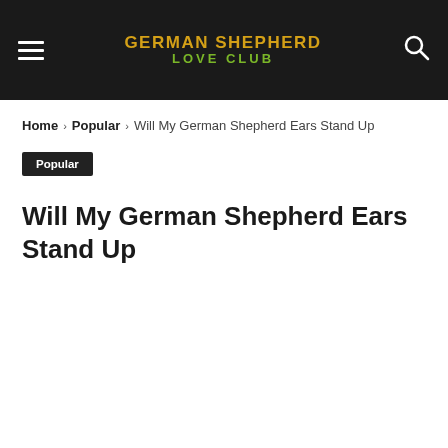GERMAN SHEPHERD LOVE CLUB
Home › Popular › Will My German Shepherd Ears Stand Up
Popular
Will My German Shepherd Ears Stand Up